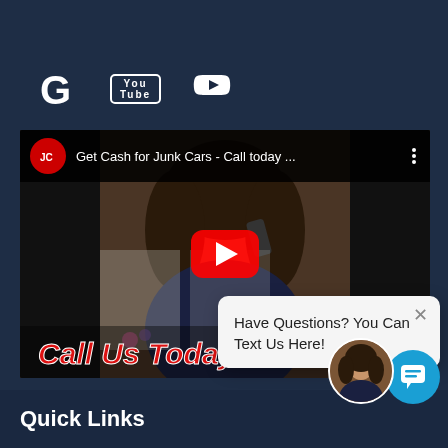[Figure (screenshot): Social media icons: Google G, YouTube, and Twitter bird icons in white on dark navy background]
[Figure (screenshot): YouTube video thumbnail showing a woman on a phone call with title 'Get Cash for Junk Cars - Call today ...' and a red play button. Below the video shows 'Call Us Today!' text. A chat popup overlay says 'Have Questions? You Can Text Us Here!' with an X close button. Bottom right shows a chat avatar with a woman photo and blue chat bubble icon.]
Have Questions? You Can Text Us Here!
Quick Links